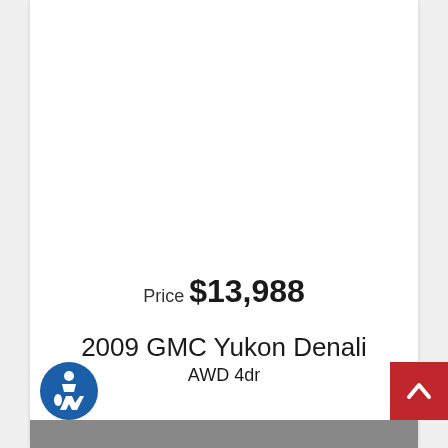Price $13,988
2009 GMC Yukon Denali AWD 4dr